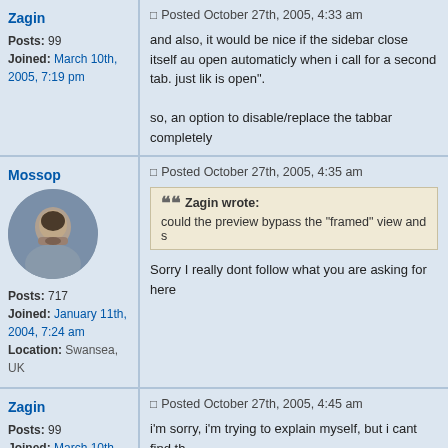Zagin
Posts: 99
Joined: March 10th, 2005, 7:19 pm
Posted October 27th, 2005, 4:33 am
and also, it would be nice if the sidebar close itself au open automaticly when i call for a second tab. just lik is open".

so, an option to disable/replace the tabbar completely
Mossop
Posts: 717
Joined: January 11th, 2004, 7:24 am
Location: Swansea, UK
Posted October 27th, 2005, 4:35 am
Zagin wrote:
could the preview bypass the "framed" view and s
Sorry I really dont follow what you are asking for here
Zagin
Posts: 99
Joined: March 10th, 2005, 7:19 pm
Posted October 27th, 2005, 4:45 am
i'm sorry, i'm trying to explain myself, but i cant find th

when the sidebar is 175 pixel width, the preview is of right end of the sites original span, while if i stretch th preview is big but i only see the left side of the site be the shrunken width off firefox main window view.